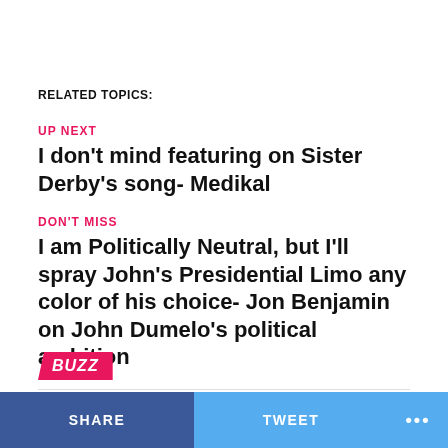RELATED TOPICS:
UP NEXT
I don't mind featuring on Sister Derby's song- Medikal
DON'T MISS
I am Politically Neutral, but I'll spray John's Presidential Limo any color of his choice- Jon Benjamin on John Dumelo's political ambition
ADVERTISEMENT
BUZZ
SHARE  TWEET  ...